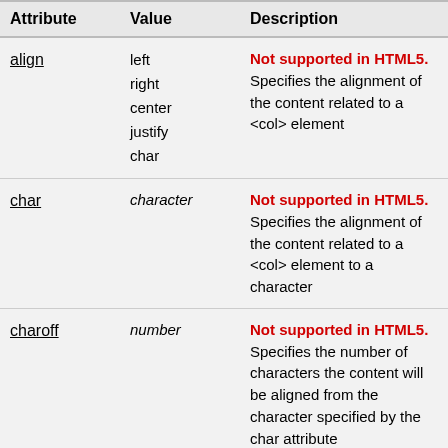| Attribute | Value | Description |
| --- | --- | --- |
| align | left
right
center
justify
char | Not supported in HTML5.
Specifies the alignment of the content related to a <col> element |
| char | character | Not supported in HTML5.
Specifies the alignment of the content related to a <col> element to a character |
| charoff | number | Not supported in HTML5.
Specifies the number of characters the content will be aligned from the character specified by the char attribute |
| span | number | Specifies the number of columns a <col> element |